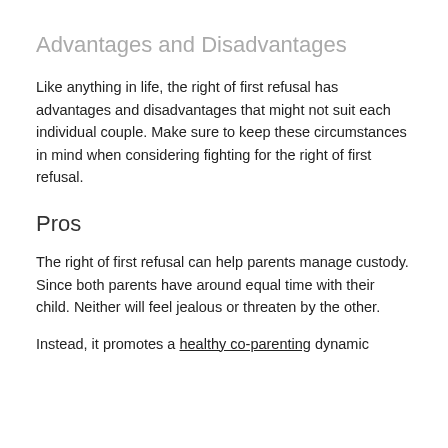Advantages and Disadvantages
Like anything in life, the right of first refusal has advantages and disadvantages that might not suit each individual couple. Make sure to keep these circumstances in mind when considering fighting for the right of first refusal.
Pros
The right of first refusal can help parents manage custody. Since both parents have around equal time with their child. Neither will feel jealous or threaten by the other.
Instead, it promotes a healthy co-parenting dynamic